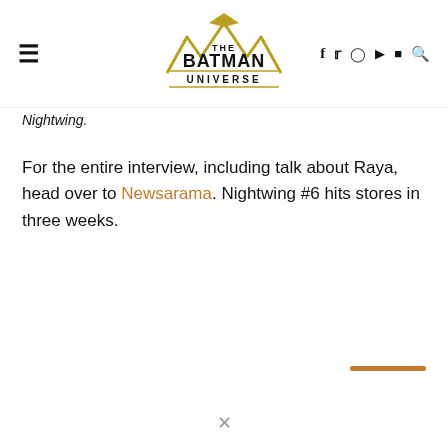The Batman Universe
Nightwing.
For the entire interview, including talk about Raya, head over to Newsarama. Nightwing #6 hits stores in three weeks.